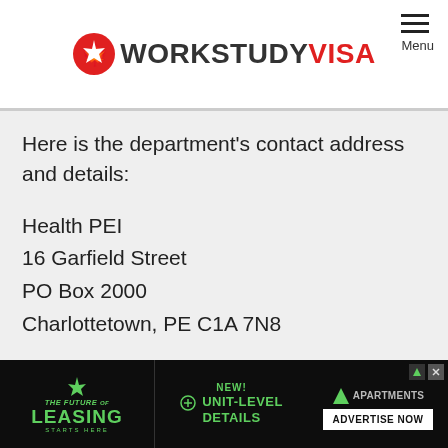WORKSTUDY VISA
Here is the department's contact address and details:
Health PEI
16 Garfield Street
PO Box 2000
Charlottetown, PE C1A 7N8
Phone: 902-368-6130
Fax: 902-368-6136
Email: healthpei@gov.pe.ca
[Figure (other): Advertisement banner: The Future of Leasing - New! Unit-Level Details - Apartments.com - Advertise Now]